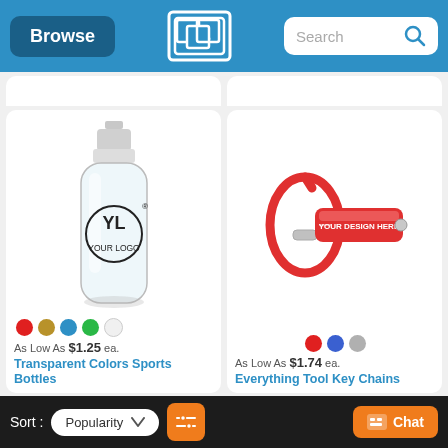Browse | Search
[Figure (photo): Transparent clear sports water bottle with YL YOUR LOGO imprint, white cap, shown with color options: red, tan/gold, blue, green, white]
As Low As $1.25 ea.
Transparent Colors Sports Bottles
[Figure (photo): Red multi-tool key chain with carabiner clip and YOUR DESIGN HERE imprint, shown with color options: red, blue, gray]
As Low As $1.74 ea.
Everything Tool Key Chains
Sort: Popularity  [filter icon]  [Chat]